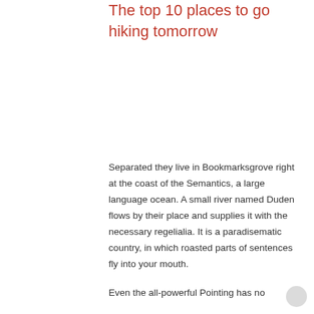The top 10 places to go hiking tomorrow
Separated they live in Bookmarksgrove right at the coast of the Semantics, a large language ocean. A small river named Duden flows by their place and supplies it with the necessary regelialia. It is a paradisematic country, in which roasted parts of sentences fly into your mouth.
Even the all-powerful Pointing has no